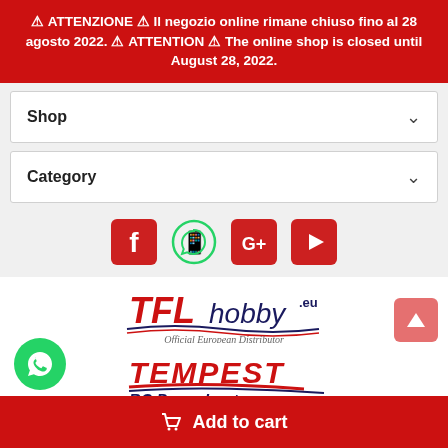⚠ ATTENZIONE ⚠ Il negozio online rimane chiuso fino al 28 agosto 2022. ⚠ ATTENTION ⚠ The online shop is closed until August 28, 2022.
Shop
Category
[Figure (illustration): Social media icons: Facebook (red square), WhatsApp (green circle), Google+ (red square), YouTube (red square)]
[Figure (logo): TFLhobby.eu logo with 'Official European Distributor' subtitle]
[Figure (logo): Tempest RC Powerboats logo]
Add to cart